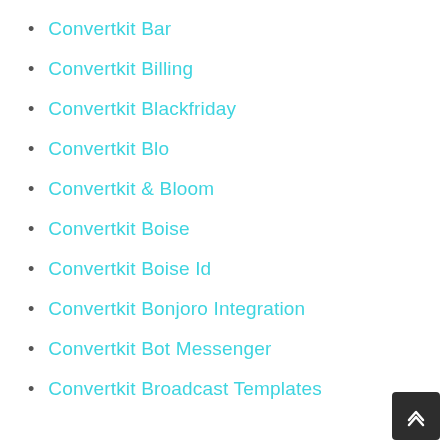Convertkit Bar
Convertkit Billing
Convertkit Blackfriday
Convertkit Blo
Convertkit & Bloom
Convertkit Boise
Convertkit Boise Id
Convertkit Bonjoro Integration
Convertkit Bot Messenger
Convertkit Broadcast Templates